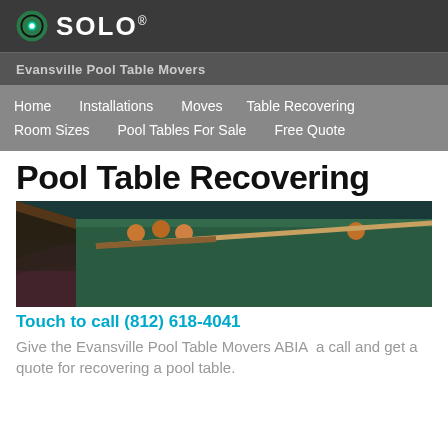SOLO®
Evansville Pool Table Movers
Home   Installations   Moves   Table Recovering   Room Sizes   Pool Tables For Sale   Free Quote
Pool Table Recovering
[Figure (photo): Close-up photo of a pool table with green felt, billiard balls, and cue sticks, lit with purple/magenta light from below]
Touch to call (812) 618-4041
Give the Evansville Pool Table Movers ABIA  a call and get a quote for recovering a pool table.